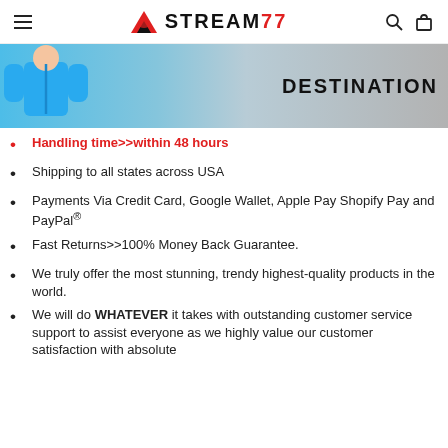STREAM77
[Figure (photo): Banner image showing a person in a blue athletic jacket on the left with a grey gradient background and bold text 'DESTINATION' on the right]
Handling time>>within 48 hours
Shipping to all states across USA
Payments Via Credit Card, Google Wallet, Apple Pay Shopify Pay and PayPal®
Fast Returns>>100% Money Back Guarantee.
We truly offer the most stunning, trendy highest-quality products in the world.
We will do WHATEVER it takes with outstanding customer service support to assist everyone as we highly value our customer satisfaction with absolute